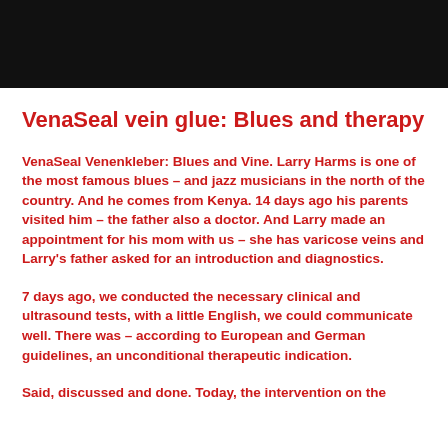[Figure (photo): Dark/black rectangular photo at the top of the page]
VenaSeal vein glue: Blues and therapy
VenaSeal Venenkleber: Blues and Vine. Larry Harms is one of the most famous blues – and jazz musicians in the north of the country. And he comes from Kenya. 14 days ago his parents visited him – the father also a doctor. And Larry made an appointment for his mom with us – she has varicose veins and Larry's father asked for an introduction and diagnostics.
7 days ago, we conducted the necessary clinical and ultrasound tests, with a little English, we could communicate well. There was – according to European and German guidelines, an unconditional therapeutic indication.
Said, discussed and done. Today, the intervention on the